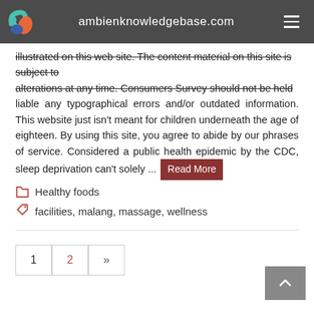ambienknowledgebase.com
illustrated on this web site. The content material on this site is subject to alterations at any time. Consumers Survey should not be held liable any typographical errors and/or outdated information. This website just isn't meant for children underneath the age of eighteen. By using this site, you agree to abide by our phrases of service. Considered a public health epidemic by the CDC, sleep deprivation can't solely ... Read More
Healthy foods
facilities, malang, massage, wellness